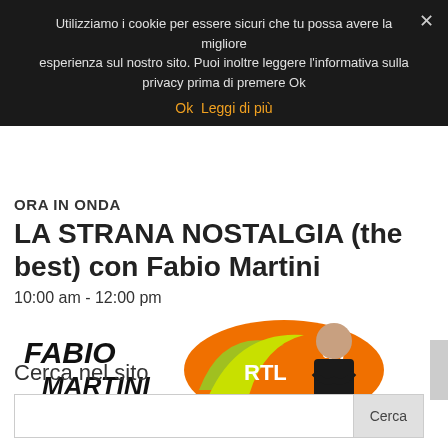Utilizziamo i cookie per essere sicuri che tu possa avere la migliore esperienza sul nostro sito. Puoi inoltre leggere l'informativa sulla privacy prima di premere Ok
Ok  Leggi di più
ORA IN ONDA
LA STRANA NOSTALGIA (the best) con Fabio Martini
10:00 am - 12:00 pm
[Figure (photo): Fabio Martini logo and RTL 99 radio station logo with host photo]
Cerca nel sito
Cerca